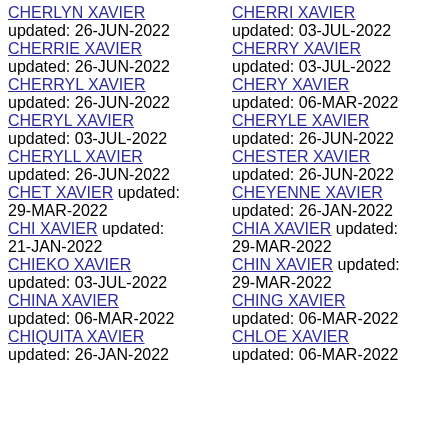CHERLYN XAVIER updated: 26-JUN-2022
CHERRI XAVIER updated: 03-JUL-2022
CHERRIE XAVIER updated: 26-JUN-2022
CHERRY XAVIER updated: 03-JUL-2022
CHERRYL XAVIER updated: 26-JUN-2022
CHERY XAVIER updated: 06-MAR-2022
CHERYL XAVIER updated: 03-JUL-2022
CHERYLE XAVIER updated: 26-JUN-2022
CHERYLL XAVIER updated: 26-JUN-2022
CHESTER XAVIER updated: 26-JUN-2022
CHET XAVIER updated: 29-MAR-2022
CHEYENNE XAVIER updated: 26-JAN-2022
CHI XAVIER updated: 21-JAN-2022
CHIA XAVIER updated: 29-MAR-2022
CHIEKO XAVIER updated: 03-JUL-2022
CHIN XAVIER updated: 29-MAR-2022
CHINA XAVIER updated: 06-MAR-2022
CHING XAVIER updated: 06-MAR-2022
CHIQUITA XAVIER updated: 26-JAN-2022
CHLOE XAVIER updated: 06-MAR-2022